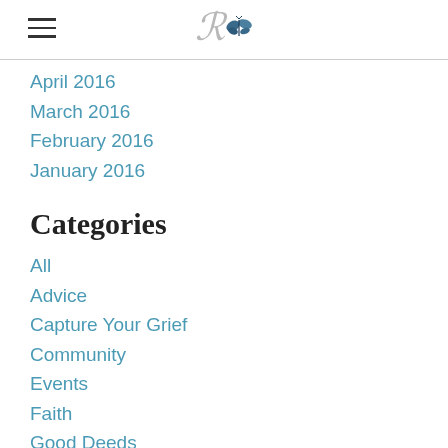R [logo with butterfly]
April 2016
March 2016
February 2016
January 2016
Categories
All
Advice
Capture Your Grief
Community
Events
Faith
Good Deeds
Gratitude
Grief
Guilt
Healing